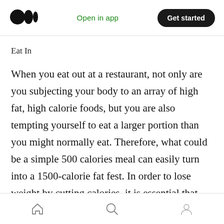Open in app  Get started
Eat In
When you eat out at a restaurant, not only are you subjecting your body to an array of high fat, high calorie foods, but you are also tempting yourself to eat a larger portion than you might normally eat. Therefore, what could be a simple 500 calories meal can easily turn into a 1500-calorie fat fest. In order to lose weight by cutting calories, it is essential that you are aware of exactly what you are putting into your body. Especially in the beginning of your new routine,